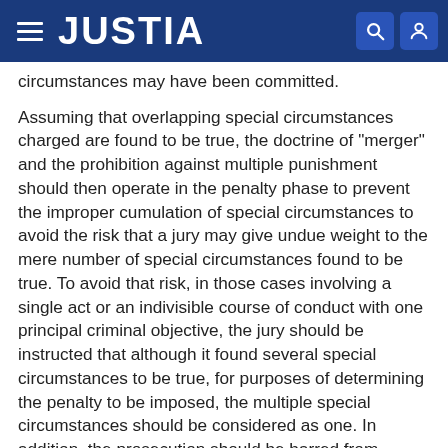JUSTIA
circumstances may have been committed.
Assuming that overlapping special circumstances charged are found to be true, the doctrine of "merger" and the prohibition against multiple punishment should then operate in the penalty phase to prevent the improper cumulation of special circumstances to avoid the risk that a jury may give undue weight to the mere number of special circumstances found to be true. To avoid that risk, in those cases involving a single act or an indivisible course of conduct with one principal criminal objective, the jury should be instructed that although it found several special circumstances to be true, for purposes of determining the penalty to be imposed, the multiple special circumstances should be considered as one. In addition, the prosecution should be barred from referring to those multiple special circumstance findings which have been merged in the penalty phase. Such a